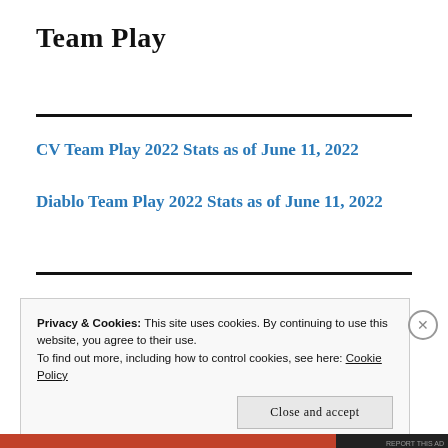Team Play
CV Team Play 2022 Stats as of June 11, 2022
Diablo Team Play 2022 Stats as of June 11, 2022
Privacy & Cookies: This site uses cookies. By continuing to use this website, you agree to their use.
To find out more, including how to control cookies, see here: Cookie Policy
Close and accept